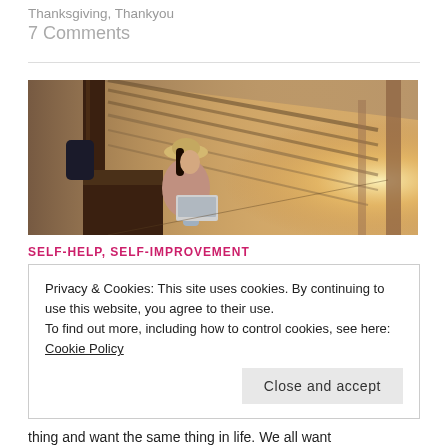Thanksgiving, Thankyou
7 Comments
[Figure (photo): A young woman wearing a hat sits on a wooden ledge in a covered outdoor corridor or station, working on a laptop. Natural light streams in from the far end of the hallway.]
SELF-HELP, SELF-IMPROVEMENT
Privacy & Cookies: This site uses cookies. By continuing to use this website, you agree to their use.
To find out more, including how to control cookies, see here: Cookie Policy
Close and accept
thing and want the same thing in life. We all want